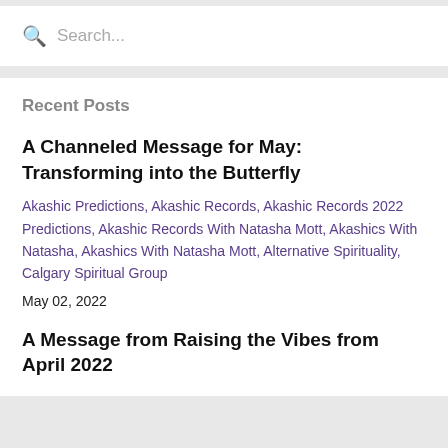Search...
Recent Posts
A Channeled Message for May: Transforming into the Butterfly
Akashic Predictions, Akashic Records, Akashic Records 2022 Predictions, Akashic Records With Natasha Mott, Akashics With Natasha, Akashics With Natasha Mott, Alternative Spirituality, Calgary Spiritual Group
May 02, 2022
A Message from Raising the Vibes from April 2022